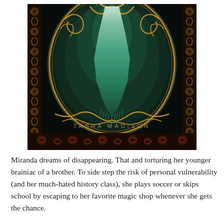[Figure (illustration): Book cover showing a dark fantasy illustration with an ornate gold frame enclosing a teal/green veil or dress hanging in a misty forest. Decorative gold scrollwork borders surround the image. Author name 'TASHA MADISON' appears at the bottom of the cover in spaced gold letters.]
Miranda dreams of disappearing. That and torturing her younger brainiac of a brother. To side step the risk of personal vulnerability (and her much-hated history class), she plays soccer or skips school by escaping to her favorite magic shop whenever she gets the chance.